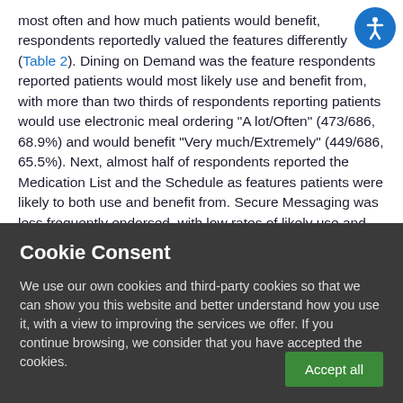most often and how much patients would benefit, respondents reportedly valued the features differently (Table 2). Dining on Demand was the feature respondents reported patients would most likely use and benefit from, with more than two thirds of respondents reporting patients would use electronic meal ordering "A lot/Often" (473/686, 68.9%) and would benefit "Very much/Extremely" (449/686, 65.5%). Next, almost half of respondents reported the Medication List and the Schedule as features patients were likely to both use and benefit from. Secure Messaging was less frequently endorsed, with low rates of likely use and benefit: 16.5% (113/686) and 24.9% (171/), respectively
Cookie Consent
We use our own cookies and third-party cookies so that we can show you this website and better understand how you use it, with a view to improving the services we offer. If you continue browsing, we consider that you have accepted the cookies.